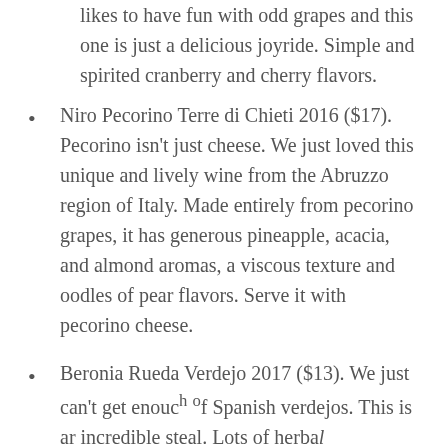likes to have fun with odd grapes and this one is just a delicious joyride. Simple and spirited cranberry and cherry flavors.
Niro Pecorino Terre di Chieti 2016 ($17). Pecorino isn't just cheese. We just loved this unique and lively wine from the Abruzzo region of Italy. Made entirely from pecorino grapes, it has generous pineapple, acacia, and almond aromas, a viscous texture and oodles of pear flavors. Serve it with pecorino cheese.
Beronia Rueda Verdejo 2017 ($13). We just can't get enough of Spanish verdejos. This is an incredible steal. Lots of herbal